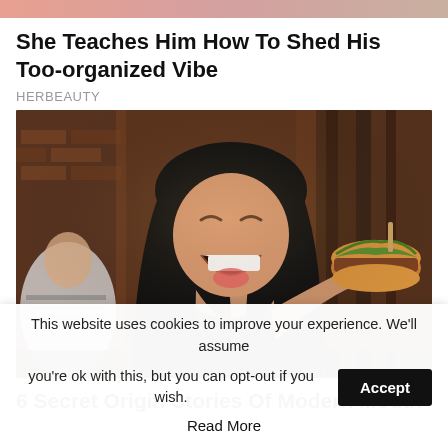[Figure (photo): Partial top image strip - cropped portion of a lifestyle photo]
She Teaches Him How To Shed His Too-organized Vibe
HERBEAUTY
[Figure (photo): Woman laughing and holding a large hamburger at a restaurant, dark hair, casual setting with brick walls and wooden panels]
6 Secret Origin Stories Of Modern Mouth-
This website uses cookies to improve your experience. We'll assume you're ok with this, but you can opt-out if you wish.
Read More